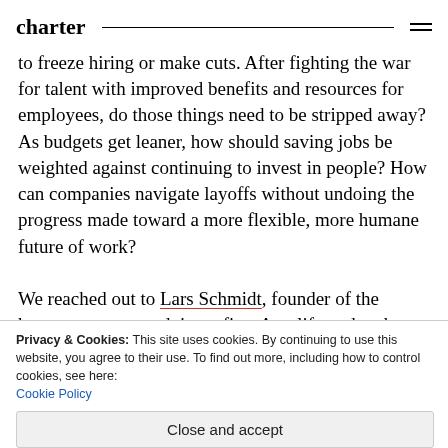charter
to freeze hiring or make cuts. After fighting the war for talent with improved benefits and resources for employees, do those things need to be stripped away? As budgets get leaner, how should saving jobs be weighted against continuing to invest in people? How can companies navigate layoffs without undoing the progress made toward a more flexible, more humane future of work?

We reached out to Lars Schmidt, founder of the human-resources advisory firm Amplify and author
Privacy & Cookies: This site uses cookies. By continuing to use this website, you agree to their use. To find out more, including how to control cookies, see here: Cookie Policy
Close and accept